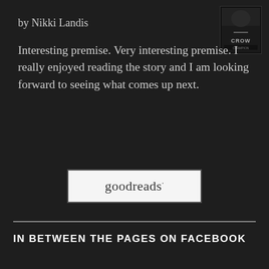by Nikki Landis
[Figure (photo): Book cover thumbnail showing dark cover with 'CROW' text]
Interesting premise. Very interesting premise. I really enjoyed reading the story and I am looking forward to seeing what comes up next.
[Figure (logo): Goodreads logo in a white rounded rectangle box]
IN BETWEEN THE PAGES ON FACEBOOK